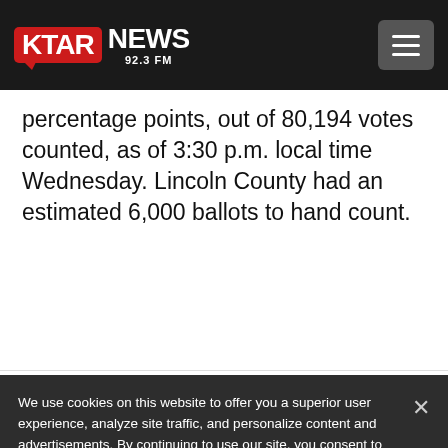KTAR NEWS 92.3 FM
percentage points, out of 80,194 votes counted, as of 3:30 p.m. local time Wednesday. Lincoln County had an estimated 6,000 ballots to hand count.
We use cookies on this website to offer you a superior user experience, analyze site traffic, and personalize content and advertisements. By continuing to use our site, you consent to our use of cookies. Please visit our Privacy Policy for more information.